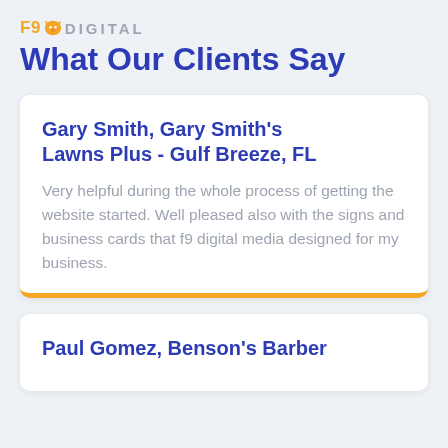F9 DIGITAL
What Our Clients Say
Gary Smith, Gary Smith's Lawns Plus - Gulf Breeze, FL
Very helpful during the whole process of getting the website started. Well pleased also with the signs and business cards that f9 digital media designed for my business.
Paul Gomez, Benson's Barber